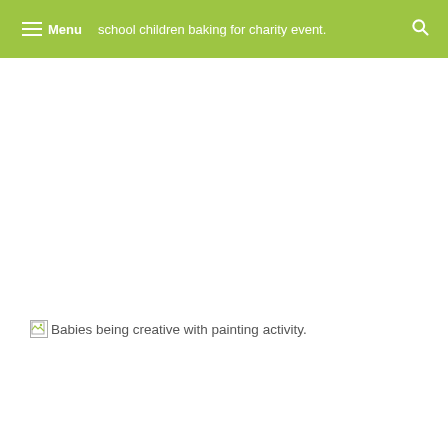Menu school children baking for charity event.
[Figure (photo): Broken image placeholder with alt text: Babies being creative with painting activity.]
Babies being creative with painting activity.